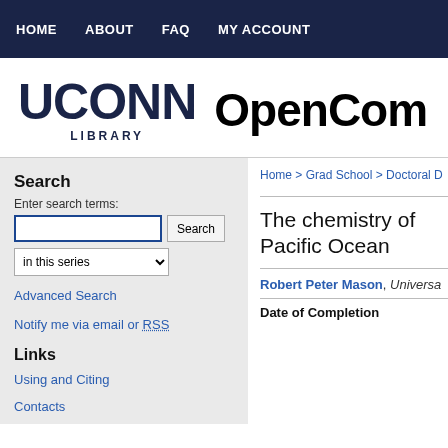HOME   ABOUT   FAQ   MY ACCOUNT
[Figure (logo): UCONN LIBRARY logo and OpenCom text]
Search
Enter search terms:
in this series
Advanced Search
Notify me via email or RSS
Links
Using and Citing
Contacts
Home > Grad School > Doctoral D
The chemistry of Pacific Ocean
Robert Peter Mason, Universa
Date of Completion